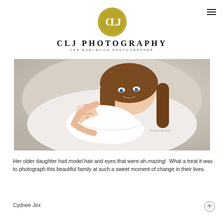CLJ PHOTOGRAPHY — THE BABYMOON PHOTOGRAPHER
[Figure (photo): A young girl with long brown hair and bright blue eyes lying down, smiling, holding a sleeping newborn baby wrapped in white with a small bow headband. Background is light beige/grey studio backdrop.]
Her older daughter had model hair and eyes that were ah-mazing!  What a treat it was to photograph this beautiful family at such a sweet moment of change in their lives.
Cydnee Jex